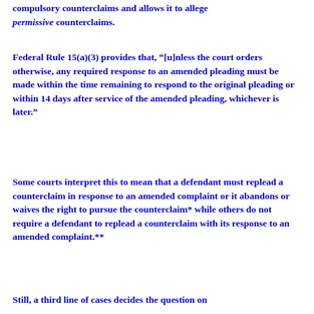compulsory counterclaims and allows it to allege permissive counterclaims.
Federal Rule 15(a)(3) provides that, “[u]nless the court orders otherwise, any required response to an amended pleading must be made within the time remaining to respond to the original pleading or within 14 days after service of the amended pleading, whichever is later.”
Some courts interpret this to mean that a defendant must replead a counterclaim in response to an amended complaint or it abandons or waives the right to pursue the counterclaim* while others do not require a defendant to replead a counterclaim with its response to an amended complaint.**
Still, a third line of cases decides the question on